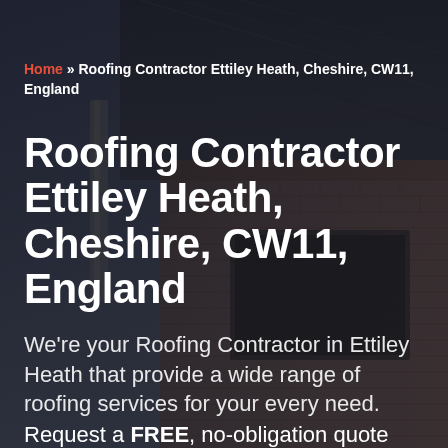[Figure (photo): Background photo of a brick building roofline with guttering and tiles against a dark cloudy sky, with a dark semi-transparent overlay]
Home » Roofing Contractor Ettiley Heath, Cheshire, CW11, England
Roofing Contractor Ettiley Heath, Cheshire, CW11, England
We're your Roofing Contractor in Ettiley Heath that provide a wide range of roofing services for your every need.
Request a FREE, no-obligation quote